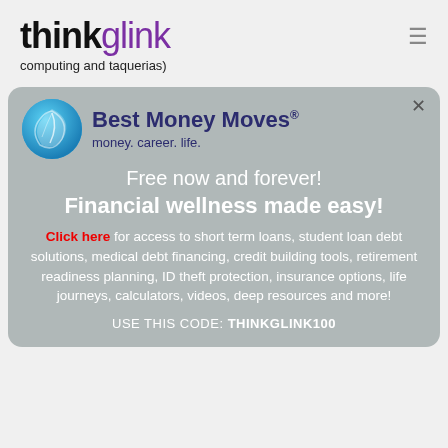thinkglink
computing and taquerias)
[Figure (infographic): Best Money Moves advertisement with logo (blue circle with leaf), tagline 'money. career. life.', headline 'Free now and forever! Financial wellness made easy!', body text about financial services, and promo code THINKGLINK100]
USE THIS CODE: THINKGLINK100